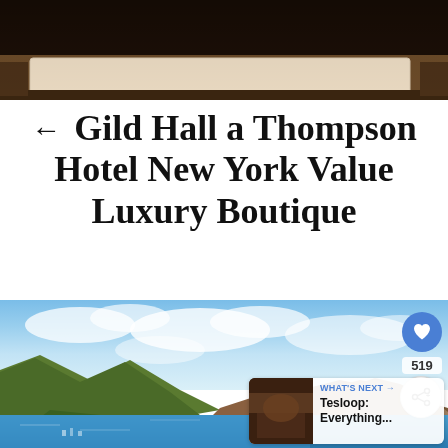[Figure (photo): Hotel bed with pillow, dark bedroom interior, close-up view from above]
← Gild Hall a Thompson Hotel New York Value Luxury Boutique
[Figure (photo): Coastal mountain landscape with blue sky, ocean bay, and rocky cliffs - scenic nature photo with social sharing UI overlay showing heart/like button (519 likes) and share button, plus 'WHAT'S NEXT → Tesloop: Everything...' navigation card]